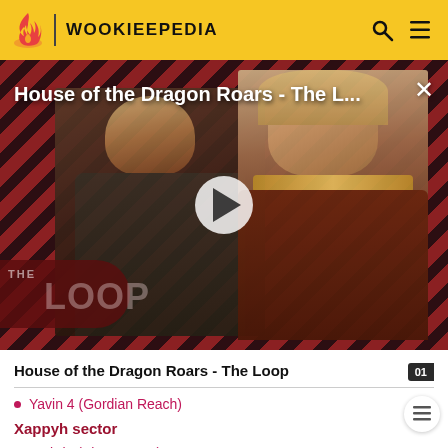WOOKIEEPEDIA
[Figure (screenshot): Video thumbnail showing two characters from House of the Dragon against a diagonal red and black stripe background, with a play button overlay and 'THE LOOP' logo in the bottom left. Title overlay reads 'House of the Dragon Roars - The L...']
House of the Dragon Roars - The Loop
Yavin 4 (Gordian Reach)
Xappyh sector
Ambria (Airon sector)